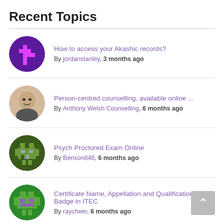Recent Topics
How to access your Akashic records? By jordanstanley, 3 months ago
Person-centred counselling, available online ... By Anthony Welsh Counselling, 6 months ago
Psych Proctored Exam Online By Benson846, 6 months ago
Certificate Name, Appellation and Qualification Badge in ITEC By raycheer, 6 months ago
Certificate Name, Appellation and Qualification